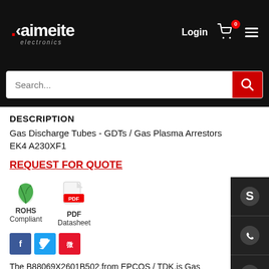[Figure (logo): Kaimeite electronics logo with white text on black background]
[Figure (screenshot): Search bar with red search button]
DESCRIPTION
Gas Discharge Tubes - GDTs / Gas Plasma Arrestors EK4 A230XF1
REQUEST FOR QUOTE
[Figure (illustration): ROHS Compliant green leaf icon and PDF Datasheet icon]
The B88069X2601B502,from EPCOS / TDK,is Gas Discharge - GDTs / Gas Plasma Arrestors.what we offer have competitive price in the global market,which are in original and new parts, would like to know more about the products or apply a lower